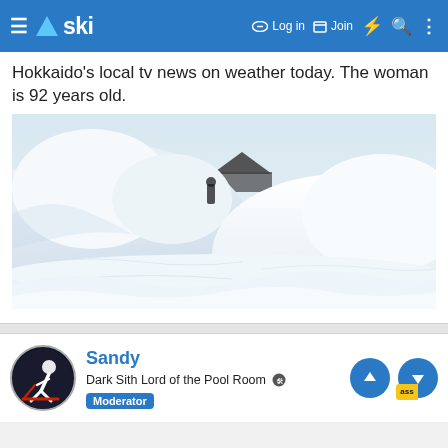≡ △ ski  🔑 Log in  📋 Join  ⚡ 🔍 ⋮
Hokkaido's local tv news on weather today. The woman is 92 years old.
[Figure (photo): A heavily snow-covered outdoor scene in Hokkaido, Japan. Enormous mounds of white snow dominate the frame, partially burying structures. A small dark rooftop or structure is barely visible above the snow. A person (reported to be 92 years old) appears small amid the massive snow accumulation. The sky is pale and overcast.]
Sandy
Dark Sith Lord of the Pool Room  🔧  Moderator  Pass